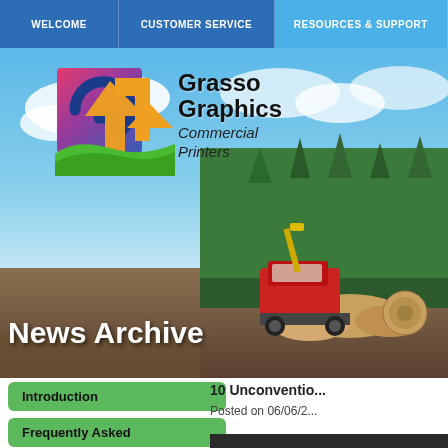WELCOME | CUSTOMER SERVICE | RESOURCES & SUPPORT
[Figure (screenshot): Grasso Graphics Commercial Printers logo with colorful G icon overlaid on a hero background photo of a logging site with trees and a timber harvesting machine, with 'News Archive' text overlay]
News Archive
Introduction
Frequently Asked
10 Unconventio...
Posted on 06/06/2...